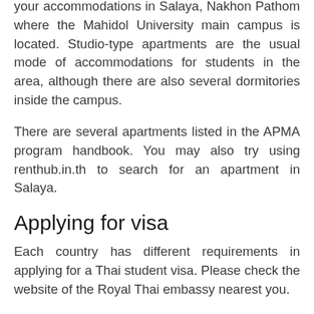your accommodations in Salaya, Nakhon Pathom where the Mahidol University main campus is located. Studio-type apartments are the usual mode of accommodations for students in the area, although there are also several dormitories inside the campus.
There are several apartments listed in the APMA program handbook. You may also try using renthub.in.th to search for an apartment in Salaya.
Applying for visa
Each country has different requirements in applying for a Thai student visa. Please check the website of the Royal Thai embassy nearest you.
After acquiring your visa and confirming your